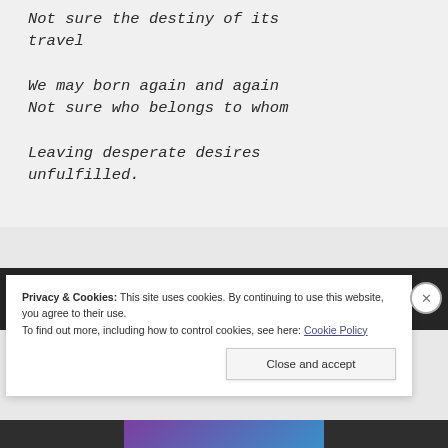Not sure the destiny of its travel

We may born again and again
Not sure who belongs to whom

Leaving desperate desires unfulfilled.
[Figure (screenshot): Dark header bar of a website]
Privacy & Cookies: This site uses cookies. By continuing to use this website, you agree to their use.
To find out more, including how to control cookies, see here: Cookie Policy
Close and accept